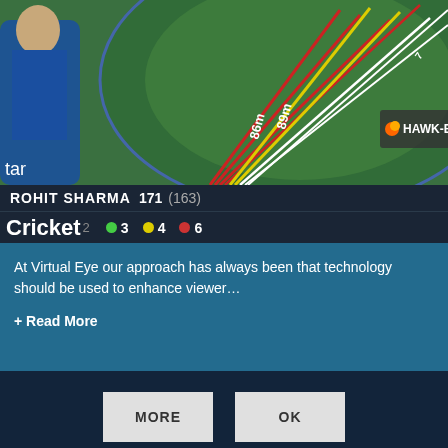[Figure (screenshot): Cricket Virtual Eye broadcast graphic showing a stadium field with colored trajectory lines (red, yellow, white) and distance markers (86m, 89m, 99.1m) overlaid on a cricket ground. A cricketer in blue Indian cricket jersey visible on the left. A logo/watermark visible in center.]
ROHIT SHARMA 171 (163)
Cricket
1  2  3  4  6 (with colored dots: green for 3, yellow for 4, red for 6)
At Virtual Eye our approach has always been that technology should be used to enhance viewer…
+ Read More
We use cookies to track visits to our website. We do not store or share personal information.
MORE
OK